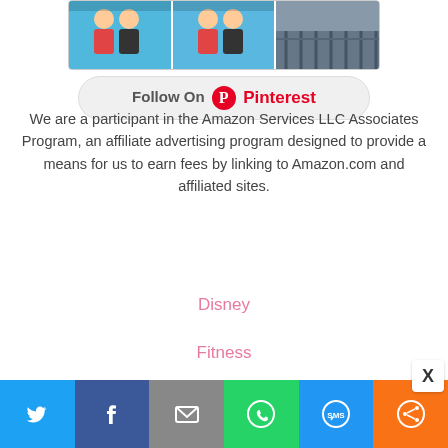[Figure (screenshot): Pinterest photo strip widget showing three photos of people and a Follow On Pinterest button]
We are a participant in the Amazon Services LLC Associates Program, an affiliate advertising program designed to provide a means for us to earn fees by linking to Amazon.com and affiliated sites.
Disney
Fitness
Travel
[Figure (screenshot): Social sharing bar with Twitter, Facebook, Email, WhatsApp, SMS, and More buttons at the bottom of the page]